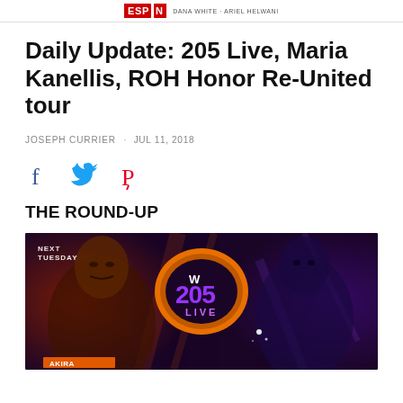ESPN | WWE 205 LIVE · DANA WHITE · ARIEL HELWANI
Daily Update: 205 Live, Maria Kanellis, ROH Honor Re-United tour
JOSEPH CURRIER · JUL 11, 2018
[Figure (infographic): Social sharing icons: Facebook (blue), Twitter (blue), Pinterest (red)]
THE ROUND-UP
[Figure (photo): WWE 205 Live promotional image showing two wrestlers face off. Text reads NEXT TUESDAY. WWE 205 LIVE logo in center. Orange and purple dramatic lighting.]